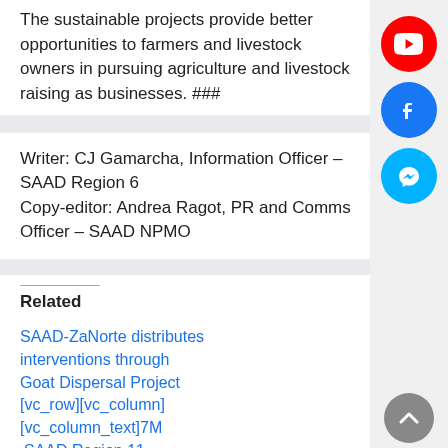The sustainable projects provide better opportunities to farmers and livestock owners in pursuing agriculture and livestock raising as businesses. ###
Writer: CJ Gamarcha, Information Officer – SAAD Region 6
Copy-editor: Andrea Ragot, PR and Comms Officer – SAAD NPMO
Related
SAAD-ZaNorte distributes interventions through Goat Dispersal Project [vc_row][vc_column][vc_column_text]7M
SAAD Region 11 completes distribution of goat
[Figure (other): Social media icons sidebar: YouTube (red), Facebook (blue), Messenger (cyan), and a scroll-up arrow]